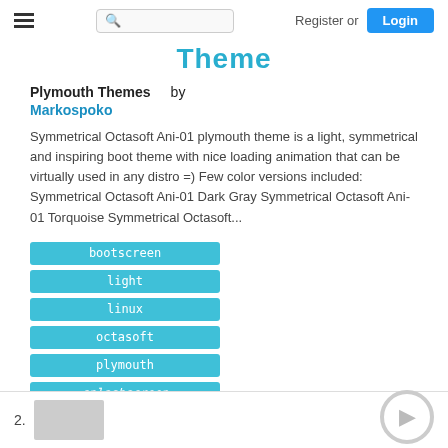Theme — Register or Login
Theme
Plymouth Themes    by
Markospoko
Symmetrical Octasoft Ani-01 plymouth theme is a light, symmetrical and inspiring boot theme with nice loading animation that can be virtually used in any distro =) Few color versions included: Symmetrical Octasoft Ani-01 Dark Gray Symmetrical Octasoft Ani-01 Torquoise Symmetrical Octasoft...
bootscreen
light
linux
octasoft
plymouth
splashscreen
unix
2.